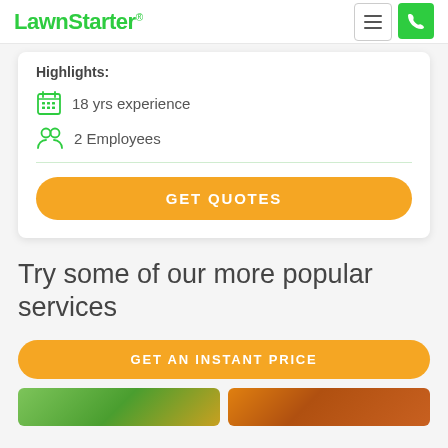LawnStarter®
Highlights:
18 yrs experience
2 Employees
GET QUOTES
Try some of our more popular services
GET AN INSTANT PRICE